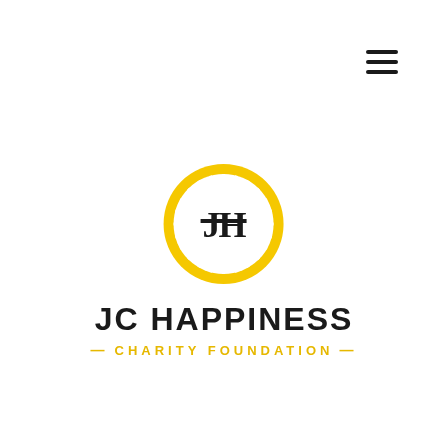[Figure (logo): Hamburger menu icon with three horizontal lines in top right corner]
[Figure (logo): JC Happiness Charity Foundation logo: circular yellow emblem with radiating spokes and JH monogram in center, with organization name below]